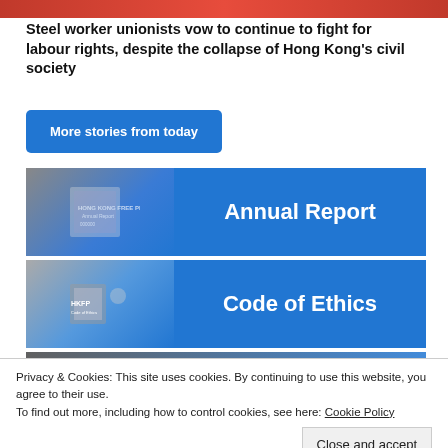[Figure (photo): Red banner image at top of page]
Steel worker unionists vow to continue to fight for labour rights, despite the collapse of Hong Kong's civil society
[Figure (other): Blue button: More stories from today]
[Figure (other): Annual Report banner with photo of HKFP Annual Report document on blue background]
[Figure (other): Code of Ethics banner with photo on blue background]
[Figure (photo): Partial third banner at bottom, partially hidden]
Privacy & Cookies: This site uses cookies. By continuing to use this website, you agree to their use.
To find out more, including how to control cookies, see here: Cookie Policy
Close and accept
SUPPORT HKFP WITH OUR PARTNERS: